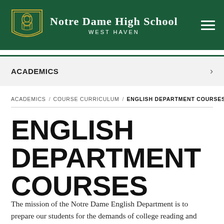Notre Dame High School West Haven
ACADEMICS
ACADEMICS / COURSE CURRICULUM / ENGLISH DEPARTMENT COURSES
ENGLISH DEPARTMENT COURSES
The mission of the Notre Dame English Department is to prepare our students for the demands of college reading and writing, nurturing and ease of expression,